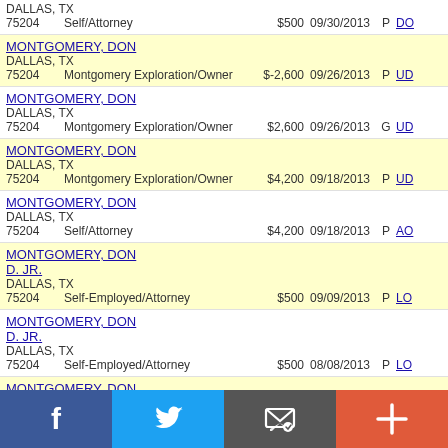DALLAS, TX 75204 | Self/Attorney | $500 | 09/30/2013 | P | DO...
MONTGOMERY, DON
DALLAS, TX
75204 | Montgomery Exploration/Owner | $-2,600 | 09/26/2013 | P | UD...
MONTGOMERY, DON
DALLAS, TX
75204 | Montgomery Exploration/Owner | $2,600 | 09/26/2013 | G | UD...
MONTGOMERY, DON
DALLAS, TX
75204 | Montgomery Exploration/Owner | $4,200 | 09/18/2013 | P | UD...
MONTGOMERY, DON
DALLAS, TX
75204 | Self/Attorney | $4,200 | 09/18/2013 | P | AO...
MONTGOMERY, DON D. JR.
DALLAS, TX
75204 | Self-Employed/Attorney | $500 | 09/09/2013 | P | LO...
MONTGOMERY, DON D. JR.
DALLAS, TX
75204 | Self-Employed/Attorney | $500 | 08/08/2013 | P | LO...
MONTGOMERY, DON D JR
DALLAS, TX